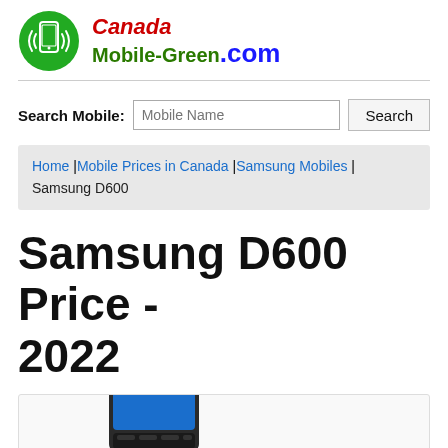[Figure (logo): Canada Mobile-Green.com logo with green circle icon showing a smartphone with signal waves]
Search Mobile: [Mobile Name input] [Search button]
Home | Mobile Prices in Canada | Samsung Mobiles | Samsung D600
Samsung D600 Price - 2022
[Figure (photo): Partial photo of Samsung D600 mobile phone]